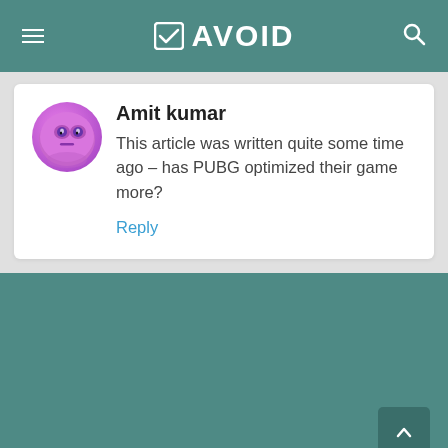AVOID
Amit kumar
This article was written quite some time ago – has PUBG optimized their game more?
Reply